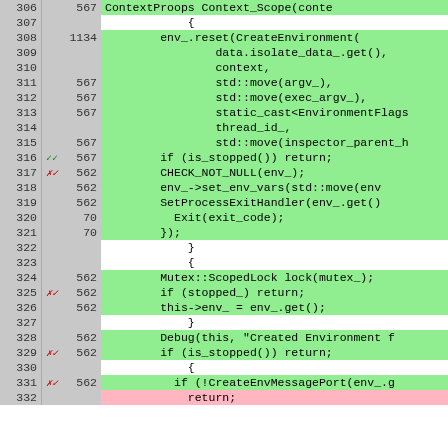[Figure (screenshot): Code coverage viewer showing C++ source lines 306-332 with line numbers, coverage counts, coverage markers (checkmarks/X-checkmarks), and highlighted code lines in green (covered) and white/pink (uncovered). Code shows environment initialization logic.]